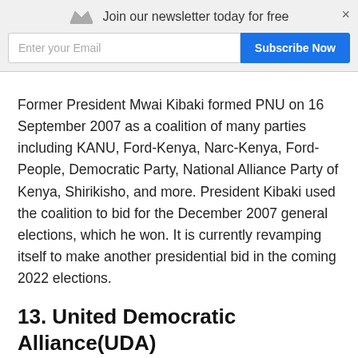[Figure (screenshot): Newsletter subscription banner with crown icon, 'Join our newsletter today for free' text, email input field, 'Subscribe Now' blue button, and close (×) button.]
Former President Mwai Kibaki formed PNU on 16 September 2007 as a coalition of many parties including KANU, Ford-Kenya, Narc-Kenya, Ford-People, Democratic Party, National Alliance Party of Kenya, Shirikisho, and more. President Kibaki used the coalition to bid for the December 2007 general elections, which he won. It is currently revamping itself to make another presidential bid in the coming 2022 elections.
13. United Democratic Alliance(UDA)
Party Leader: William Ruto, PhD